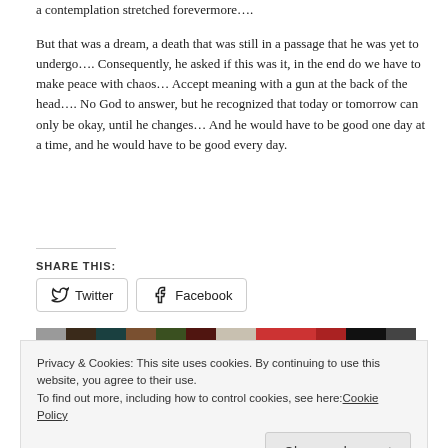a contemplation stretched forevermore….
But that was a dream, a death that was still in a passage that he was yet to undergo…. Consequently, he asked if this was it, in the end do we have to make peace with chaos… Accept meaning with a gun at the back of the head…. No God to answer, but he recognized that today or tomorrow can only be okay, until he changes… And he would have to be good one day at a time, and he would have to be good every day.
SHARE THIS:
Twitter  Facebook
Privacy & Cookies: This site uses cookies. By continuing to use this website, you agree to their use.
To find out more, including how to control cookies, see here: Cookie Policy
Close and accept
This is an interruption from regular    meant for Navel Gazing…